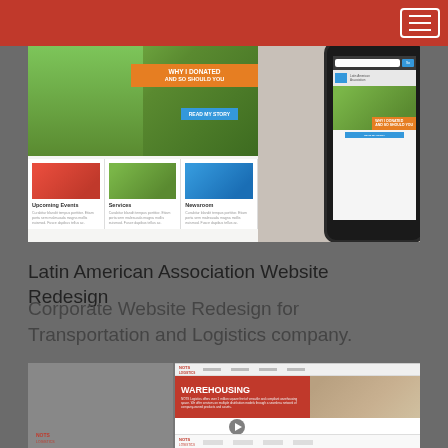[Figure (screenshot): Screenshot of Latin American Association website redesign showing desktop and mobile views. Desktop shows a hero banner with 'WHY I DONATED AND SO SHOULD YOU' with a 'READ MY STORY' button over a photo of a father and son, plus three card sections for Upcoming Events, Services, and Newsroom. A mobile phone mockup shows the responsive version.]
Latin American Association Website Redesign
Corporate Website Redesign for Transportation and Logistics company.
[Figure (screenshot): Partially visible screenshot of NOTS Logistics corporate website redesign showing a red WAREHOUSING hero section with text about warehousing services, alongside a warehouse photo.]